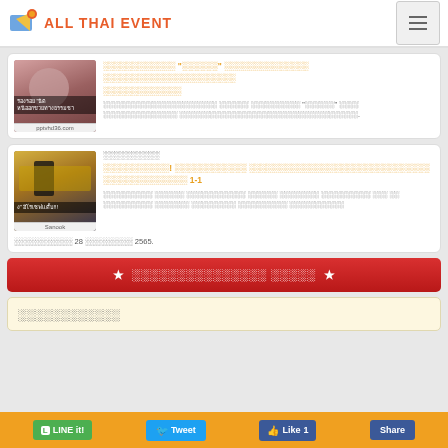ALL THAI EVENT
[Figure (screenshot): Thumbnail image of a person with Thai text overlay and source label pptvhd36.com]
Thai article title in orange - related to news story
Thai article body text excerpt
[Figure (screenshot): Thumbnail image of football players with Thai text overlay and source label Sanook]
Thai category label
Thai article title in orange with score 1-1
Thai article body text with date 28 กรกฎาคม 2565.
★ ดูผลบอลสด เพิ่มเติม ★
แสดงความคิดเห็น
LINE it! | Tweet | Like 1 | Share